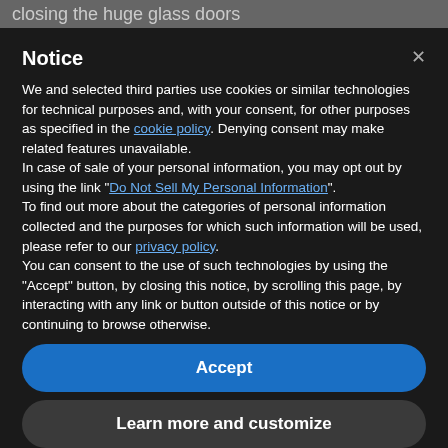closing the huge glass doors
Notice
We and selected third parties use cookies or similar technologies for technical purposes and, with your consent, for other purposes as specified in the cookie policy. Denying consent may make related features unavailable.
In case of sale of your personal information, you may opt out by using the link "Do Not Sell My Personal Information".
To find out more about the categories of personal information collected and the purposes for which such information will be used, please refer to our privacy policy.
You can consent to the use of such technologies by using the "Accept" button, by closing this notice, by scrolling this page, by interacting with any link or button outside of this notice or by continuing to browse otherwise.
Accept
Learn more and customize